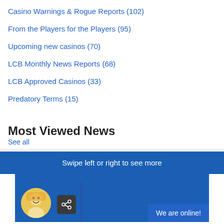Casino Warnings & Rogue Reports (102)
From the Players for the Players (95)
Upcoming new casinos (70)
LCB Monthly News Reports (68)
LCB Approved Casinos (33)
Predatory Terms (15)
Most Viewed News
See all
Swipe left or right to see more
[Figure (screenshot): Blue card area with avatar character, share button, and 'We are online!' button]